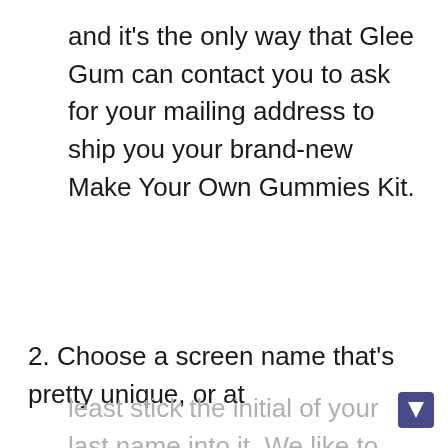and it's the only way that Glee Gum can contact you to ask for your mailing address to ship you your brand-new Make Your Own Gummies Kit.
2. Choose a screen name that's pretty unique, or at least stick the initial of your last name into it. We like to announce the name of our winner, and a lot